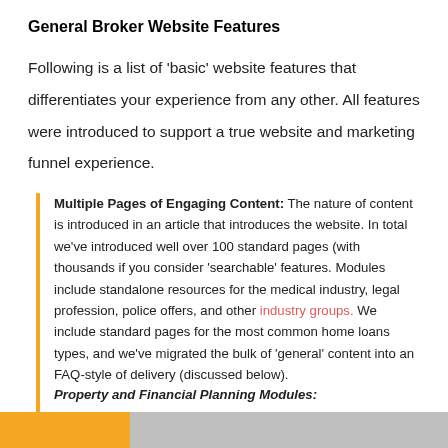General Broker Website Features
Following is a list of 'basic' website features that differentiates your experience from any other. All features were introduced to support a true website and marketing funnel experience.
Multiple Pages of Engaging Content: The nature of content is introduced in an article that introduces the website. In total we've introduced well over 100 standard pages (with thousands if you consider 'searchable' features. Modules include standalone resources for the medical industry, legal profession, police offers, and other industry groups. We include standard pages for the most common home loans types, and we've migrated the bulk of 'general' content into an FAQ-style of delivery (discussed below).
Property and Financial Planning Modules: